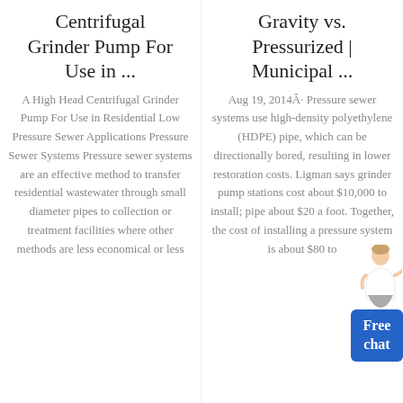Centrifugal Grinder Pump For Use in ...
Gravity vs. Pressurized | Municipal ...
A High Head Centrifugal Grinder Pump For Use in Residential Low Pressure Sewer Applications Pressure Sewer Systems Pressure sewer systems are an effective method to transfer residential wastewater through small diameter pipes to collection or treatment facilities where other methods are less economical or less
Aug 19, 2014Â· Pressure sewer systems use high-density polyethylene (HDPE) pipe, which can be directionally bored, resulting in lower restoration costs. Ligman says grinder pump stations cost about $10,000 to install; pipe about $20 a foot. Together, the cost of installing a pressure system is about $80 to